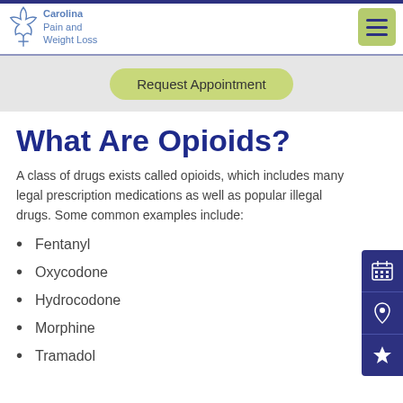Carolina Pain and Weight Loss
Request Appointment
What Are Opioids?
A class of drugs exists called opioids, which includes many legal prescription medications as well as popular illegal drugs. Some common examples include:
Fentanyl
Oxycodone
Hydrocodone
Morphine
Tramadol